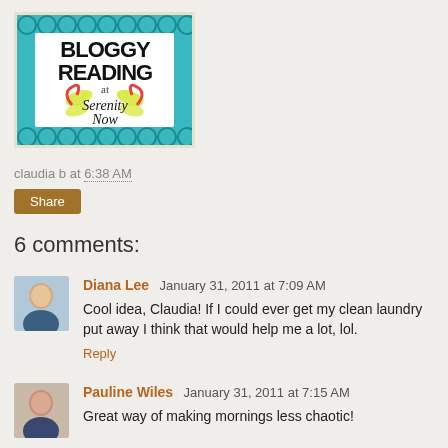[Figure (logo): Bloggy Reading at Serenity Now logo — teal background with decorative border, dragonfly illustration, handwritten text]
claudia b at 6:38 AM
Share
6 comments:
Diana Lee  January 31, 2011 at 7:09 AM
Cool idea, Claudia! If I could ever get my clean laundry put away I think that would help me a lot, lol.
Reply
Pauline Wiles  January 31, 2011 at 7:15 AM
Great way of making mornings less chaotic!